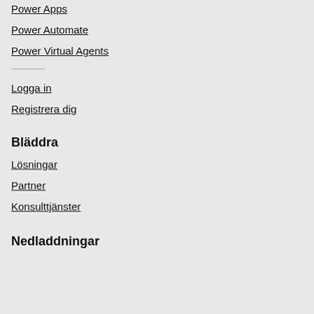Power Apps
Power Automate
Power Virtual Agents
Logga in
Registrera dig
Bläddra
Lösningar
Partner
Konsulttjänster
Nedladdningar